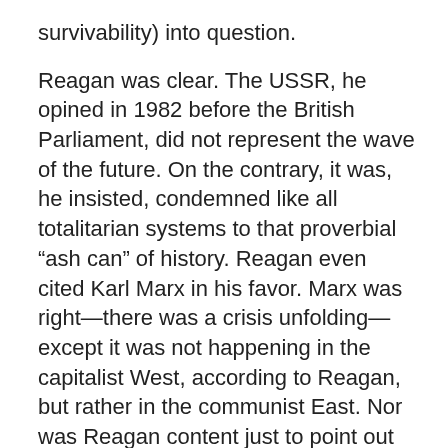survivability) into question.
Reagan was clear. The USSR, he opined in 1982 before the British Parliament, did not represent the wave of the future. On the contrary, it was, he insisted, condemned like all totalitarian systems to that proverbial “ash can” of history. Reagan even cited Karl Marx in his favor. Marx was right—there was a crisis unfolding—except it was not happening in the capitalist West, according to Reagan, but rather in the communist East. Nor was Reagan content just to point out what was wrong with planning—though he did so in some detail. A few months later he spoke of the USSR in almost religious terms. Its government was not just another system with which the United States was engaged in a competition. It was nothing less (he noted in March 1983) than an “evil empire,” one that the United States not only had a foreign-policy duty to oppose but a moral duty to compete with as well.
And compete the United States did with increasing